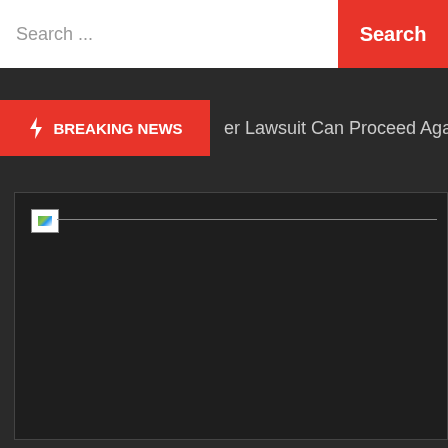Search ...  Search
⚡ BREAKING NEWS  er Lawsuit Can Proceed Against S.F. For Re
[Figure (screenshot): Dark panel with a broken/unloaded image placeholder in the top-left corner and a horizontal dividing line extending to the right.]